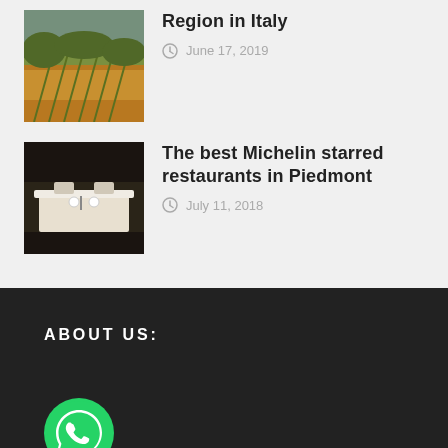[Figure (photo): Vineyard landscape in Italy with rows of grapevines and autumn foliage]
Region in Italy
June 17, 2019
[Figure (photo): Michelin starred restaurant interior with white tablecloth dining setting]
The best Michelin starred restaurants in Piedmont
July 11, 2018
ABOUT US:
[Figure (logo): WhatsApp green circular logo/button]